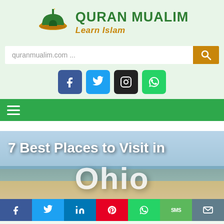[Figure (logo): Quran Mualim website logo with mosque icon and text 'QURAN MUALIM / Learn Islam']
[Figure (screenshot): Search bar with placeholder text 'quranmualim.com ...' and a gold search button]
[Figure (infographic): Social media icons row: Facebook (blue), Twitter (light blue), Instagram (black), WhatsApp (green)]
[Figure (screenshot): Green navigation bar with hamburger menu icon]
[Figure (photo): Hero image showing a beach/coastline scene with overlaid text '7 Best Places to Visit in Ohio']
[Figure (infographic): Bottom share bar with icons for Facebook, Twitter, LinkedIn, Pinterest, WhatsApp, SMS, and Email]